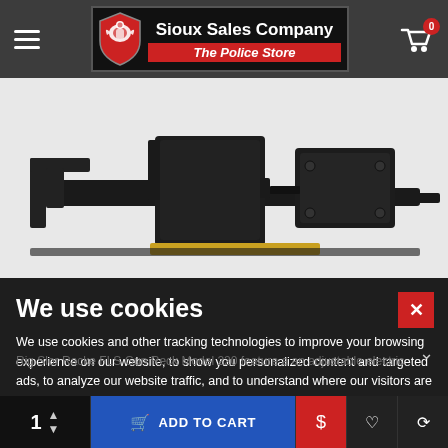[Figure (screenshot): Sioux Sales Company – The Police Store website header with logo, hamburger menu, and cart icon showing 0 items]
[Figure (photo): Product photo of a black police equipment/gun rack mounting system on white background]
We use cookies
We use cookies and other tracking technologies to improve your browsing experience on our website, to show you personalized content and targeted ads, to analyze our website traffic, and to understand where our visitors are coming from. By browsing our website, you consent to our use of cookies and other tracking technologies. To find out more, please visit our Cookies Policy.